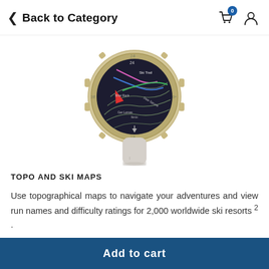Back to Category
[Figure (photo): Garmin GPS smartwatch with gold/champagne casing and white band, displaying a topographical ski trail map on the circular screen.]
TOPO AND SKI MAPS
Use topographical maps to navigate your adventures and view run names and difficulty ratings for 2,000 worldwide ski resorts 2 .
Add to cart